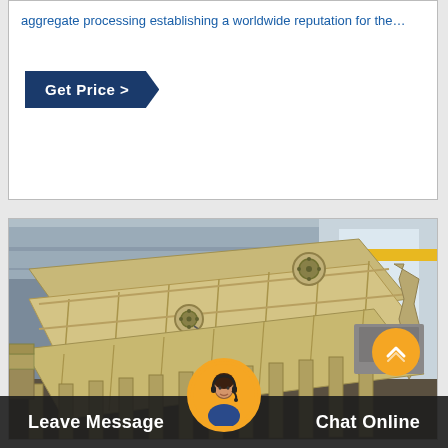aggregate processing establishing a worldwide reputation for the…
Get Price >
[Figure (photo): Large industrial vibrating screen machine (yellow/tan colored) inside a factory/warehouse, shown at an angle with multiple deck layers and structural framework visible]
Leave Message
Chat Online